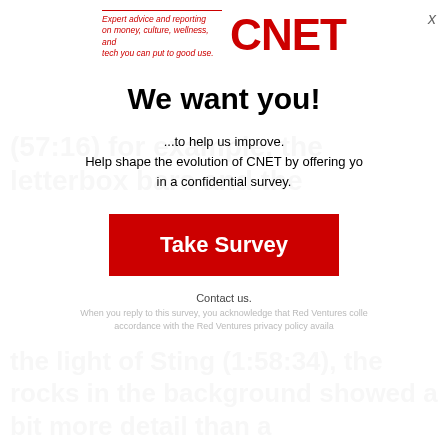Expert advice and reporting on money, culture, wellness, and tech you can put to good use. | CNET
(57:16) for example, the letterbox bars and the
We want you!
...to help us improve.
Help shape the evolution of CNET by offering yo
in a confidential survey.
Take Survey
Contact us.
When you reply to this survey, you acknowledge that Red Ventures colle accordance with the Red Ventures privacy policy availa
the light of Sting (1:58:34), the rocks in the background showed a bit more detail than a